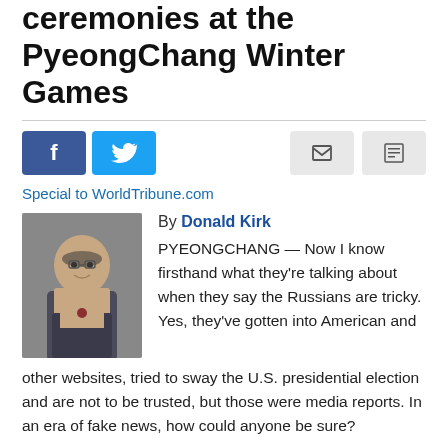ceremonies at the PyeongChang Winter Games
[Figure (photo): Portrait photo of author Donald Kirk, an older man wearing glasses and a suit jacket]
By Donald Kirk
PYEONGCHANG — Now I know firsthand what they're talking about when they say the Russians are tricky. Yes, they've gotten into American and other websites, tried to sway the U.S. presidential election and are not to be trusted, but those were media reports. In an era of fake news, how could anyone be sure?
The evidence came when I really wanted a ticket to the
Special to WorldTribune.com